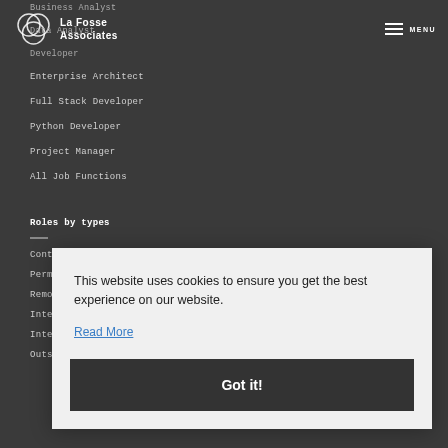La Fosse Associates
Business Analyst
Data Analyst
Developer
Enterprise Architect
Full Stack Developer
Python Developer
Project Manager
All Job Functions
Roles by types
Contract
Permanent
Remote
International
International
Outside IR35
This website uses cookies to ensure you get the best experience on our website.
Read More
Got it!